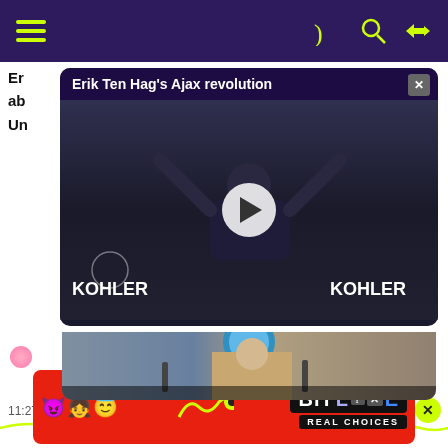Navigation header with hamburger menu and icons
Er... ab... Un...
[Figure (screenshot): Video player showing 'Erik Ten Hag's Ajax revolution' with a bald man celebrating with arms raised, KOHLER advertising boards visible, and a presenter at a press conference below. Play button overlay visible.]
11:27 AM · May 23, 2022
[Figure (photo): BitLife Real Choices advertisement banner with emoji characters (devil, person, angel) and colorful game logo on red background]